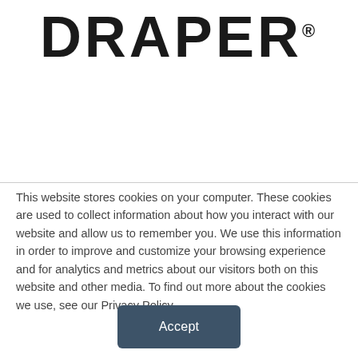[Figure (logo): DRAPER® logo in bold black sans-serif uppercase text]
This website stores cookies on your computer. These cookies are used to collect information about how you interact with our website and allow us to remember you. We use this information in order to improve and customize your browsing experience and for analytics and metrics about our visitors both on this website and other media. To find out more about the cookies we use, see our Privacy Policy.
Accept